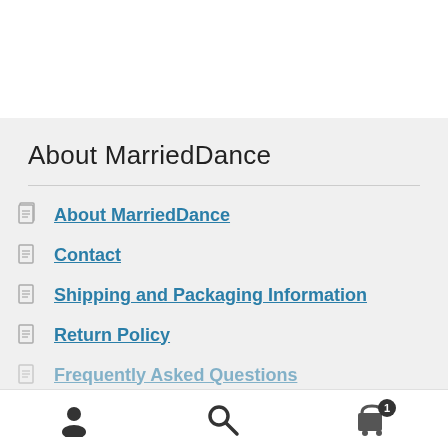About MarriedDance
About MarriedDance
Contact
Shipping and Packaging Information
Return Policy
Frequently Asked Questions